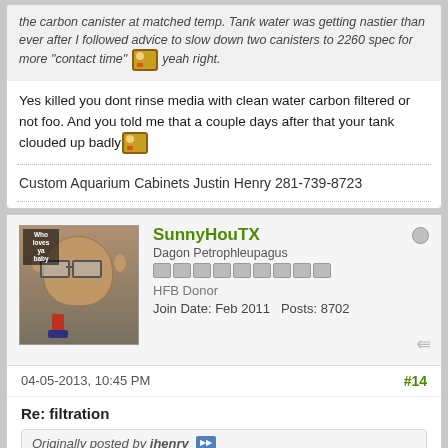the carbon canister at matched temp. Tank water was getting nastier than ever after I followed advice to slow down two canisters to 2260 spec for more "contact time" yeah right.
Yes killed you dont rinse media with clean water carbon filtered or not foo. And you told me that a couple days after that your tank clouded up badly
Custom Aquarium Cabinets Justin Henry 281-739-8723
SunnyHouTX
Dagon Petrophleupagus
HFB Donor
Join Date: Feb 2011   Posts: 8702
04-05-2013, 10:45 PM
#14
Re: filtration
Originally posted by jhenry